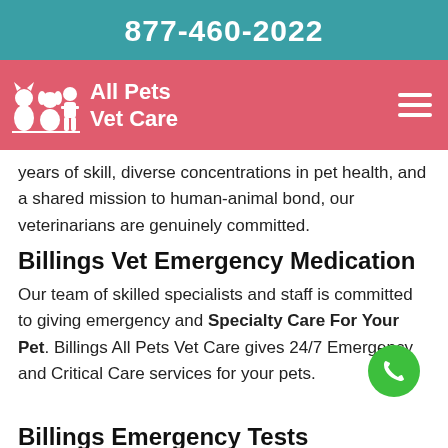877-460-2022
[Figure (logo): All Pets Vet Care logo with white pet silhouettes on salmon/pink navigation bar, hamburger menu on right]
years of skill, diverse concentrations in pet health, and a shared mission to human-animal bond, our veterinarians are genuinely committed.
Billings Vet Emergency Medication
Our team of skilled specialists and staff is committed to giving emergency and Specialty Care For Your Pet. Billings All Pets Vet Care gives 24/7 Emergency and Critical Care services for your pets.
Billings Emergency Tests Diagnostics
We give the highest-quality care and attention. All